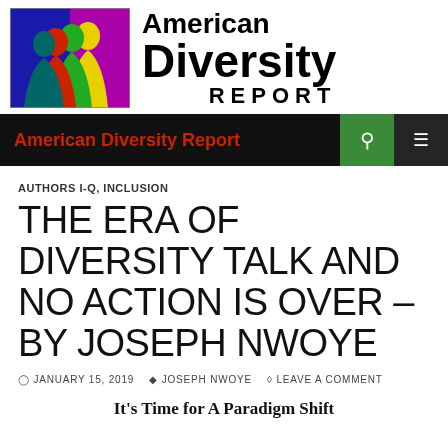[Figure (logo): American Diversity Report logo with colorful silhouette faces on blue/purple background and bold text reading American Diversity Report]
American Diversity Report
AUTHORS I-Q, INCLUSION
THE ERA OF DIVERSITY TALK AND NO ACTION IS OVER – BY JOSEPH NWOYE
JANUARY 15, 2019   JOSEPH NWOYE   LEAVE A COMMENT
It's Time for A Paradigm Shift